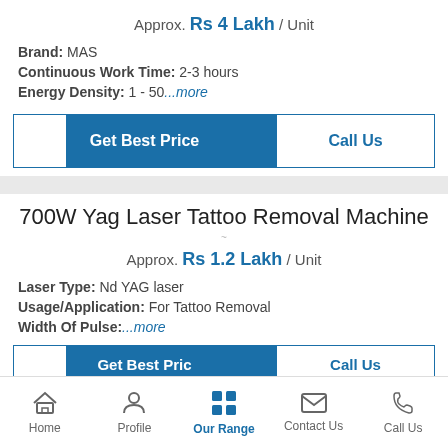Approx. Rs 4 Lakh / Unit
Brand: MAS
Continuous Work Time: 2-3 hours
Energy Density: 1 - 50...more
[Figure (screenshot): Get Best Price and Call Us buttons]
700W Yag Laser Tattoo Removal Machine
Approx. Rs 1.2 Lakh / Unit
Laser Type: Nd YAG laser
Usage/Application: For Tattoo Removal
Width Of Pulse:...more
[Figure (screenshot): Partially visible Get Best Price and Call Us buttons]
Home | Profile | Our Range | Contact Us | Call Us